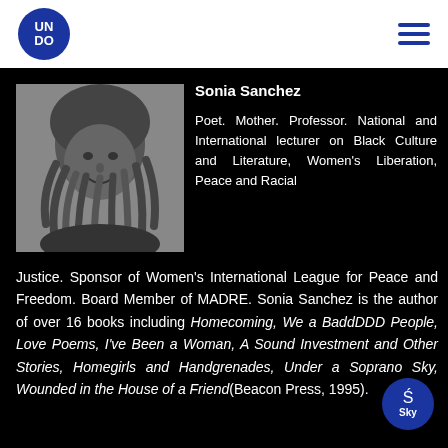UNDO
[Figure (photo): Black and white portrait photograph of Sonia Sanchez wearing a knit head covering, smiling]
Sonia Sanchez
Poet. Mother. Professor. National and International lecturer on Black Culture and Literature, Women's Liberation, Peace and Racial Justice. Sponsor of Women's International League for Peace and Freedom. Board Member of MADRE. Sonia Sanchez is the author of over 16 books including Homecoming, We a BaddDDD People, Love Poems, I've Been a Woman, A Sound Investment and Other Stories, Homegirls and Handgrenades, Under a Soprano Sky, Wounded in the House of a Friend (Beacon Press, 1995).